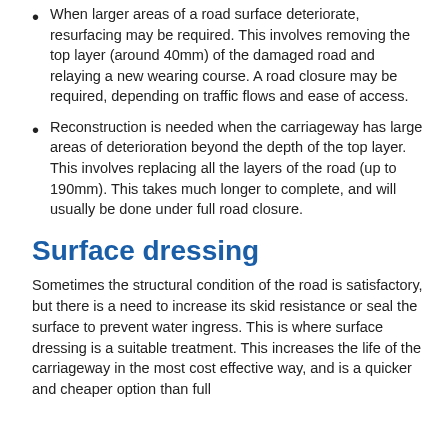When larger areas of a road surface deteriorate, resurfacing may be required. This involves removing the top layer (around 40mm) of the damaged road and relaying a new wearing course. A road closure may be required, depending on traffic flows and ease of access.
Reconstruction is needed when the carriageway has large areas of deterioration beyond the depth of the top layer. This involves replacing all the layers of the road (up to 190mm). This takes much longer to complete, and will usually be done under full road closure.
Surface dressing
Sometimes the structural condition of the road is satisfactory, but there is a need to increase its skid resistance or seal the surface to prevent water ingress. This is where surface dressing is a suitable treatment. This increases the life of the carriageway in the most cost effective way, and is a quicker and cheaper option than full